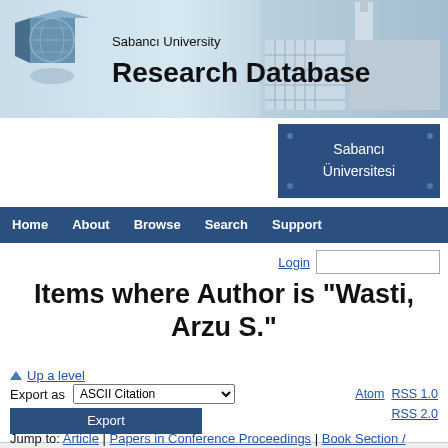[Figure (logo): Sabanci University Research Database header banner with 3D globe cube icon on left, text 'Sabanci University Research Database' in center, and university building image on right]
[Figure (logo): Sabanci Universitesi navy blue logo box]
Home  About  Browse  Search  Support
Login [input field]
Items where Author is "Wasti, Arzu S."
Up a level
Export as ASCII Citation  [dropdown]  Atom  RSS 1.0  RSS 2.0
Export [button]
Group by: Item Type | No Grouping
Jump to: Article | Papers in Conference Proceedings | Book Section /